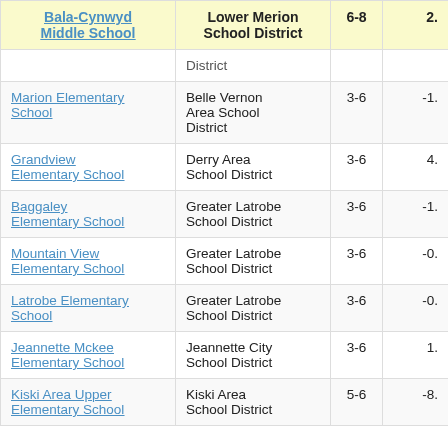| School | District | Grades | Value |
| --- | --- | --- | --- |
| Bala-Cynwyd Middle School | Lower Merion School District | 6-8 | 2. |
|  | District |  |  |
| Marion Elementary School | Belle Vernon Area School District | 3-6 | -1. |
| Grandview Elementary School | Derry Area School District | 3-6 | 4. |
| Baggaley Elementary School | Greater Latrobe School District | 3-6 | -1. |
| Mountain View Elementary School | Greater Latrobe School District | 3-6 | -0. |
| Latrobe Elementary School | Greater Latrobe School District | 3-6 | -0. |
| Jeannette Mckee Elementary School | Jeannette City School District | 3-6 | 1. |
| Kiski Area Upper Elementary School | Kiski Area School District | 5-6 | -8. |